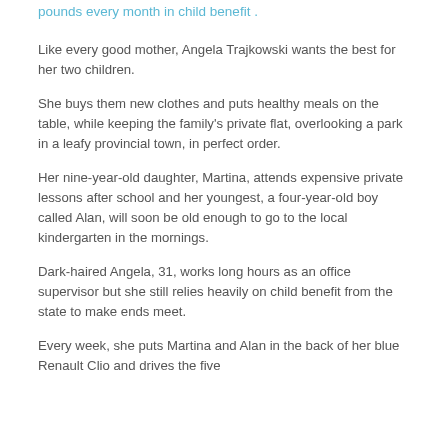pounds every month in child benefit .
Like every good mother, Angela Trajkowski wants the best for her two children.
She buys them new clothes and puts healthy meals on the table, while keeping the family's private flat, overlooking a park in a leafy provincial town, in perfect order.
Her nine-year-old daughter, Martina, attends expensive private lessons after school and her youngest, a four-year-old boy called Alan, will soon be old enough to go to the local kindergarten in the mornings.
Dark-haired Angela, 31, works long hours as an office supervisor but she still relies heavily on child benefit from the state to make ends meet.
Every week, she puts Martina and Alan in the back of her blue Renault Clio and drives the five